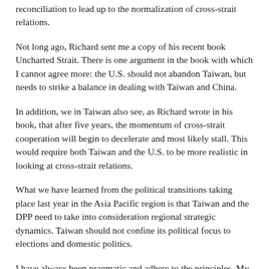reconciliation to lead up to the normalization of cross-strait relations.
Not long ago, Richard sent me a copy of his recent book Uncharted Strait. There is one argument in the book with which I cannot agree more: the U.S. should not abandon Taiwan, but needs to strike a balance in dealing with Taiwan and China.
In addition, we in Taiwan also see, as Richard wrote in his book, that after five years, the momentum of cross-strait cooperation will begin to decelerate and most likely stall. This would require both Taiwan and the U.S. to be more realistic in looking at cross-strait relations.
What we have learned from the political transitions taking place last year in the Asia Pacific region is that Taiwan and the DPP need to take into consideration regional strategic dynamics. Taiwan should not confine its political focus to elections and domestic politics.
I have always been pragmatic and adhere to the principles. My track record as Premier speaks for itself. In 2006 to 2007